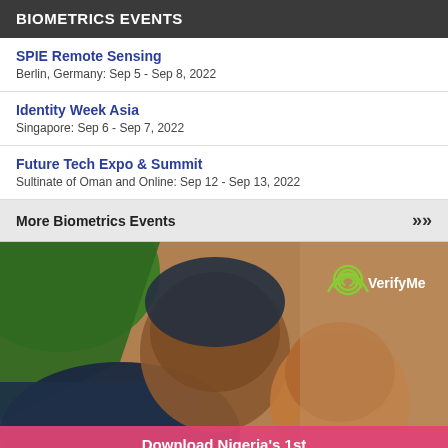BIOMETRICS EVENTS
SPIE Remote Sensing
Berlin, Germany: Sep 5 - Sep 8, 2022
Identity Week Asia
Singapore: Sep 6 - Sep 7, 2022
Future Tech Expo & Summit
Sultinate of Oman and Online: Sep 12 - Sep 13, 2022
More Biometrics Events >>>
[Figure (photo): Advertisement image showing a woman and child with VerifyMe branding logo and text 'Download Nigeria's 1st' on a pink banner at the bottom]